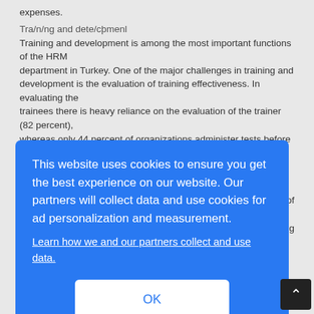expenses.
Tra/n/ng and dete/cþmenl
Training and development is among the most important functions of the HRM department in Turkey. One of the major challenges in training and development is the evaluation of training effectiveness. In evaluating the trainees there is heavy reliance on the evaluation of the trainer (82 percent),
whereas only 44 percent of organizations administer tests before and
[Figure (screenshot): Cookie consent overlay banner with blue background. Text reads: 'This website uses cookies to ensure you get the best experience on our website. Our partners will collect data and use cookies for ad personalization and measurement.' with a link 'Learn how we and our partners collect and use data.' and an OK button.]
on of
ng
s.
Career management and b/ann/ng